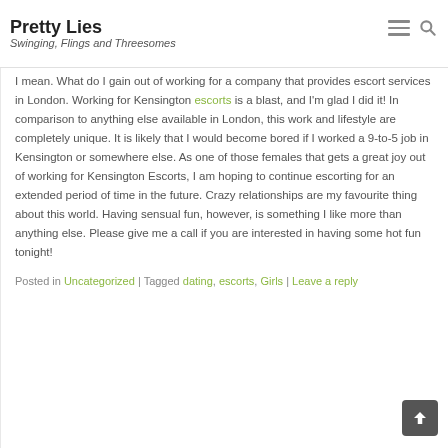Pretty Lies — Swinging, Flings and Threesomes
I mean. What do I gain out of working for a company that provides escort services in London. Working for Kensington escorts is a blast, and I'm glad I did it! In comparison to anything else available in London, this work and lifestyle are completely unique. It is likely that I would become bored if I worked a 9-to-5 job in Kensington or somewhere else. As one of those females that gets a great joy out of working for Kensington Escorts, I am hoping to continue escorting for an extended period of time in the future. Crazy relationships are my favourite thing about this world. Having sensual fun, however, is something I like more than anything else. Please give me a call if you are interested in having some hot fun tonight!
Posted in Uncategorized | Tagged dating, escorts, Girls | Leave a reply